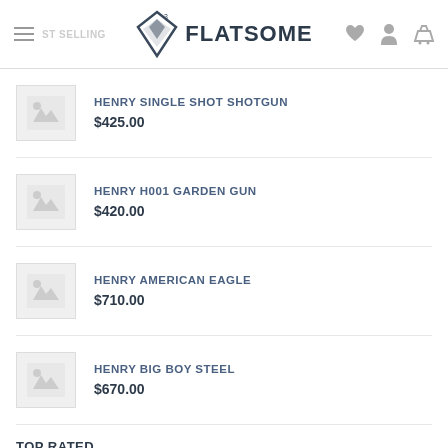FLATSOME
HENRY SINGLE SHOT SHOTGUN $425.00
HENRY H001 GARDEN GUN $420.00
HENRY AMERICAN EAGLE $710.00
HENRY BIG BOY STEEL $670.00
TOP RATED